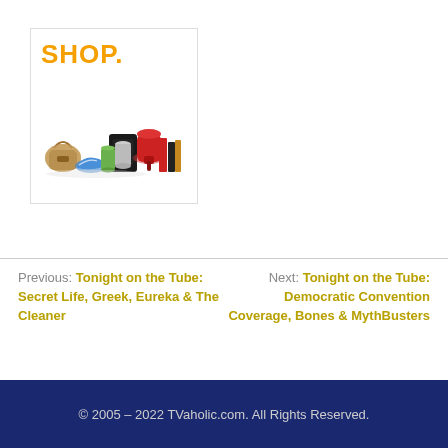[Figure (illustration): Advertisement banner with the word SHOP. in orange bold text and product images below including a handbag, sneakers, stand mixer, electronics, books, and metallic containers.]
Previous: Tonight on the Tube: Secret Life, Greek, Eureka & The Cleaner
Next: Tonight on the Tube: Democratic Convention Coverage, Bones & MythBusters
© 2005 – 2022 TVaholic.com. All Rights Reserved.